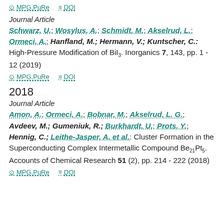MPG.PuRe   DOI
Journal Article
Schwarz, U.; Wosylus, A.; Schmidt, M.; Akselrud, L.; Ormeci, A.; Hanfland, M.; Hermann, V.; Kuntscher, C.: High-Pressure Modification of BiI3. Inorganics 7, 143, pp. 1 - 12 (2019)
MPG.PuRe   DOI
2018
Journal Article
Amon, A.; Ormeci, A.; Bobnar, M.; Akselrud, L. G.; Avdeev, M.; Gumeniuk, R.; Burkhardt, U.; Prots, Y.; Hennig, C.; Leithe-Jasper, A. et al.: Cluster Formation in the Superconducting Complex Intermetallic Compound Be21Pt5. Accounts of Chemical Research 51 (2), pp. 214 - 222 (2018)
MPG.PuRe   DOI